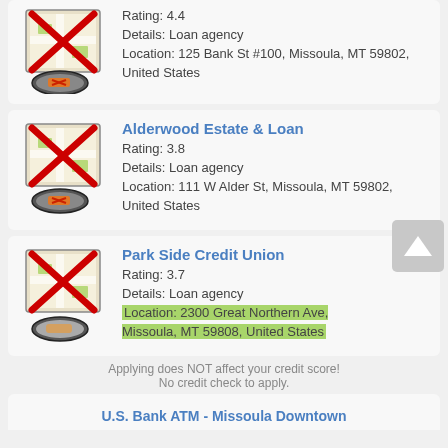[Figure (screenshot): Map icon with red X overlay for first listing]
Rating: 4.4
Details: Loan agency
Location: 125 Bank St #100, Missoula, MT 59802, United States
[Figure (screenshot): Map icon with red X overlay for Alderwood Estate & Loan]
Alderwood Estate & Loan
Rating: 3.8
Details: Loan agency
Location: 111 W Alder St, Missoula, MT 59802, United States
[Figure (screenshot): Map icon with red X overlay for Park Side Credit Union]
Park Side Credit Union
Rating: 3.7
Details: Loan agency
Location: 2300 Great Northern Ave, Missoula, MT 59808, United States
Applying does NOT affect your credit score!
No credit check to apply.
U.S. Bank ATM - Missoula Downtown